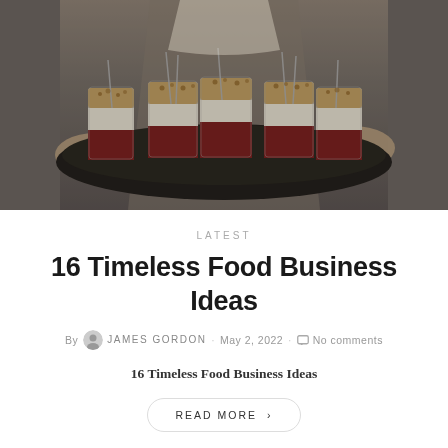[Figure (photo): Person in apron holding a dark round tray with five glass dessert cups containing layered parfaits with red berry compote, cream, and granola topping, each with a spoon]
LATEST
16 Timeless Food Business Ideas
By JAMES GORDON · May 2, 2022 · No comments
16 Timeless Food Business Ideas
READ MORE >